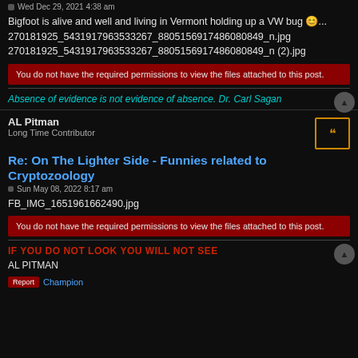Wed Dec 29, 2021 4:38 am
Bigfoot is alive and well and living in Vermont holding up a VW bug 😊...
270181925_5431917963533267_8805156917486080849_n.jpg
270181925_5431917963533267_8805156917486080849_n (2).jpg
You do not have the required permissions to view the files attached to this post.
Absence of evidence is not evidence of absence. Dr. Carl Sagan
AL Pitman
Long Time Contributor
Re: On The Lighter Side - Funnies related to Cryptozoology
Sun May 08, 2022 8:17 am
FB_IMG_1651961662490.jpg
You do not have the required permissions to view the files attached to this post.
IF YOU DO NOT LOOK YOU WILL NOT SEE
AL PITMAN